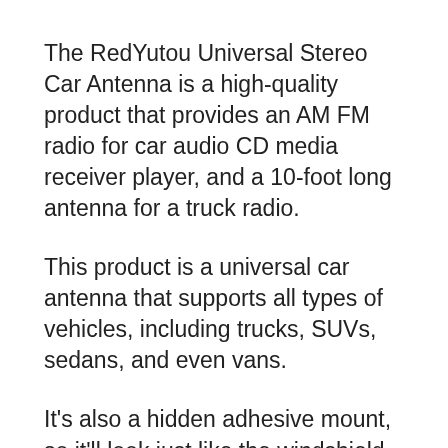The RedYutou Universal Stereo Car Antenna is a high-quality product that provides an AM FM radio for car audio CD media receiver player, and a 10-foot long antenna for a truck radio.
This product is a universal car antenna that supports all types of vehicles, including trucks, SUVs, sedans, and even vans.
It’s also a hidden adhesive mount, so it’ll look just like the windshield window glass when you’re driving. And it has a cable length of 3 meters, which is perfect for all types of vehicles.
This is also a professional car antenna with a